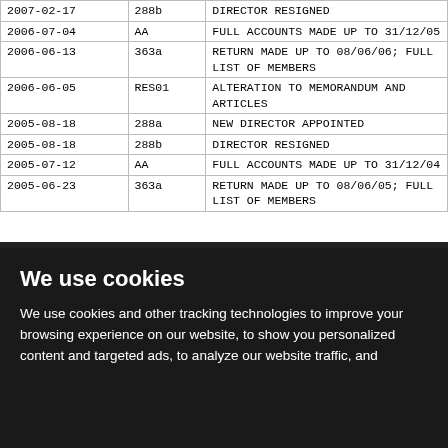| Date | Type | Description |
| --- | --- | --- |
| 2007-02-17 | 288b | DIRECTOR RESIGNED |
| 2006-07-04 | AA | FULL ACCOUNTS MADE UP TO 31/12/05 |
| 2006-06-13 | 363a | RETURN MADE UP TO 08/06/06; FULL LIST OF MEMBERS |
| 2006-06-05 | RES01 | ALTERATION TO MEMORANDUM AND ARTICLES |
| 2005-08-18 | 288a | NEW DIRECTOR APPOINTED |
| 2005-08-18 | 288b | DIRECTOR RESIGNED |
| 2005-07-12 | AA | FULL ACCOUNTS MADE UP TO 31/12/04 |
| 2005-06-23 | 363a | RETURN MADE UP TO 08/06/05; FULL LIST OF MEMBERS |
We use cookies
We use cookies and other tracking technologies to improve your browsing experience on our website, to show you personalized content and targeted ads, to analyze our website traffic, and